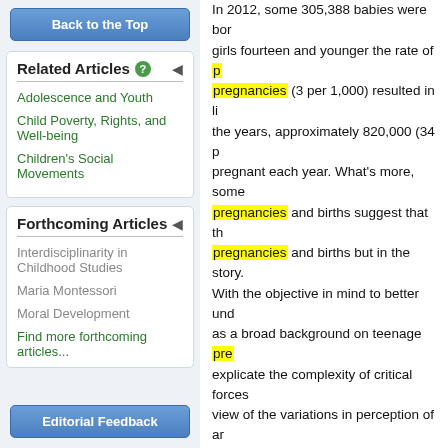Back to the Top
Related Articles
Adolescence and Youth
Child Poverty, Rights, and Well-being
Children's Social Movements
Forthcoming Articles
Interdisciplinarity in Childhood Studies
Maria Montessori
Moral Development
Find more forthcoming articles...
Editorial Feedback
In 2012, some 305,388 babies were born to girls fourteen and younger the rate of pregnancies (3 per 1,000) resulted in li... the years, approximately 820,000 (34 p... pregnant each year. What's more, some pregnancies and births suggest that th... pregnancies and births but in the story. With the objective in mind to better und... as a broad background on teenage pre... explicate the complexity of critical forces... view of the variations in perception of ar... this article.
General Overviews
Adolescent pregnancy is a complex iss... natural human occurrence that is a poo... in what could be called the cultural wars... religious leaders use cultural and moral... with the stated purpose of preventing te... national vital statistics on teen pregnan... these broader issues. Demographic stu... Guttmacher Institute 2010) give a statis... The number of teen pregnancies and ...